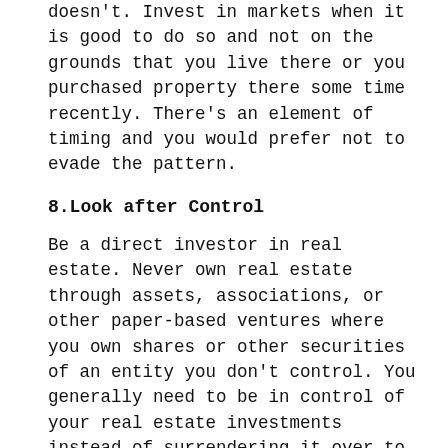doesn't. Invest in markets when it is good to do so and not on the grounds that you live there or you purchased property there some time recently. There's an element of timing and you would prefer not to evade the pattern.
8.Look after Control
Be a direct investor in real estate. Never own real estate through assets, associations, or other paper-based ventures where you own shares or other securities of an entity you don't control. You generally need to be in control of your real estate investments instead of surrendering it over to companies or fund managers.
Since numerous investors today need to add real estate to their investment portfolios as it is one of the most secure long-term investments. But they don't understand the complex nuances of real estate investing or how to start the procedure. Real estate investing is considerably not quite the same as investing in stocks, bonds, and it can appear to be